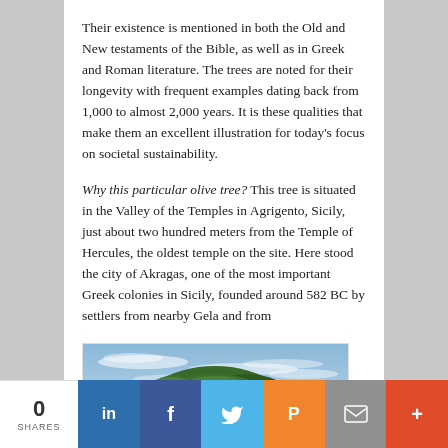Their existence is mentioned in both the Old and New testaments of the Bible, as well as in Greek and Roman literature. The trees are noted for their longevity with frequent examples dating back from 1,000 to almost 2,000 years. It is these qualities that make them an excellent illustration for today's focus on societal sustainability.
Why this particular olive tree? This tree is situated in the Valley of the Temples in Agrigento, Sicily, just about two hundred meters from the Temple of Hercules, the oldest temple on the site. Here stood the city of Akragas, one of the most important Greek colonies in Sicily, founded around 582 BC by settlers from nearby Gela and from
[Figure (photo): A large olive tree with dense green foliage photographed against a blue sky with wispy white clouds, situated outdoors.]